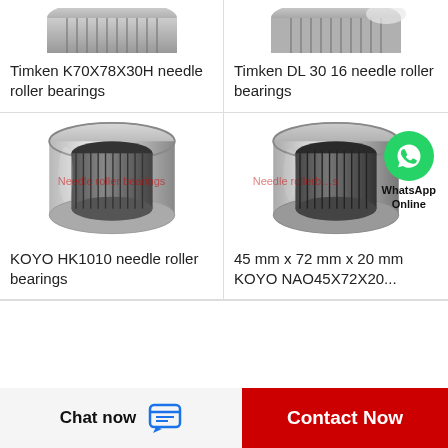[Figure (photo): Timken K70X78X30H needle roller bearing - partial top view cropped]
Timken K70X78X30H needle roller bearings
[Figure (photo): Timken DL 30 16 needle roller bearing - partial top view cropped]
Timken DL 30 16 needle roller bearings
[Figure (photo): KOYO HK1010 needle roller bearing - cylindrical silver bearing with needle rollers visible]
KOYO HK1010 needle roller bearings
[Figure (photo): KOYO NAO45X72X20 needle roller bearing with WhatsApp Online badge overlay]
45 mm x 72 mm x 20 mm KOYO NAO45X72X20...
Chat now  Contact Now